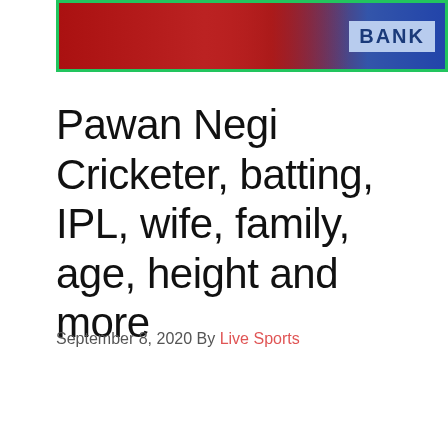[Figure (photo): Cricket players in red uniforms with a blue bank advertisement banner visible on the right side. Image has a green border.]
Pawan Negi Cricketer, batting, IPL, wife, family, age, height and more
September 8, 2020 By Live Sports